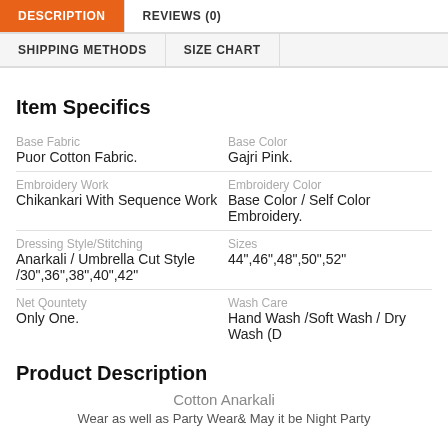DESCRIPTION | REVIEWS (0) | SHIPPING METHODS | SIZE CHART
Item Specifics
|  |  |
| --- | --- |
| Base Fabric
Puor Cotton Fabric. | Base Color
Gajri Pink. |
| Embroidery Work
Chikankari With Sequence Work | Embroidery Color
Base Color / Self Color Embroidery. |
| Dressing Style/Stitching
Anarkali / Umbrella Cut Style /30"36",38",40",42" | Sizes
44",46",48",50",52" |
| Net Qountety
Only One. | Wash Care
Hand Wash /Soft Wash / Dry Wash (D |
Product Description
Cotton Anarkali
Wear as well as Party Wear& May it be Night Party